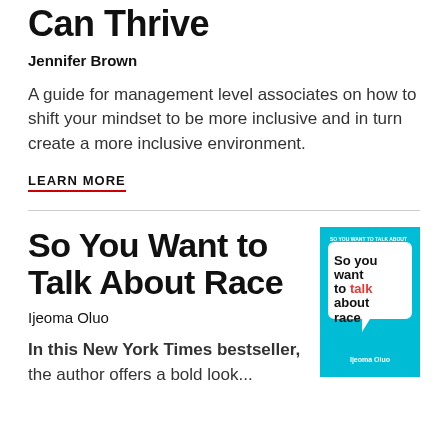Can Thrive
Jennifer Brown
A guide for management level associates on how to shift your mindset to be more inclusive and in turn create a more inclusive environment.
LEARN MORE
So You Want to Talk About Race
Ijeoma Oluo
[Figure (illustration): Book cover of 'So You Want to Talk About Race' by Ijeoma Oluo — cyan/turquoise background with bold text in white and red]
In this New York Times bestseller, the author offers a bold look...